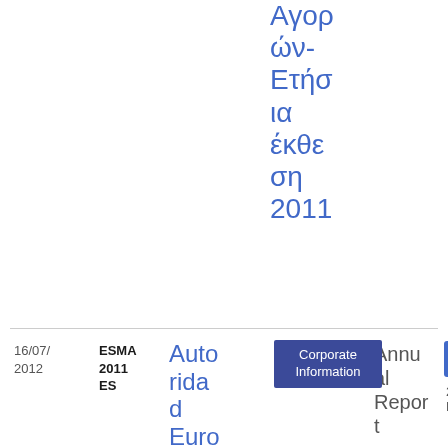Αγορών-Ετήσια έκθεση 2011
| Date | Reference | Title | Category | Document Type | Download |
| --- | --- | --- | --- | --- | --- |
| 16/07/2012 | ESMA 2011 ES | Autoridad Europea de Valores y Mercados - Informe anual | Corporate Information | Annual Report | PDF 2.36 KB 13 |